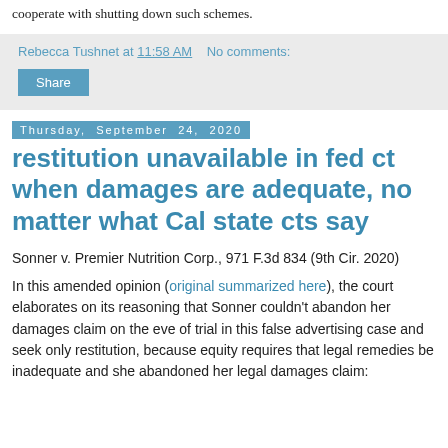cooperate with shutting down such schemes.
Rebecca Tushnet at 11:58 AM   No comments:
Share
Thursday, September 24, 2020
restitution unavailable in fed ct when damages are adequate, no matter what Cal state cts say
Sonner v. Premier Nutrition Corp., 971 F.3d 834 (9th Cir. 2020)
In this amended opinion (original summarized here), the court elaborates on its reasoning that Sonner couldn't abandon her damages claim on the eve of trial in this false advertising case and seek only restitution, because equity requires that legal remedies be inadequate and she abandoned her legal damages claim: